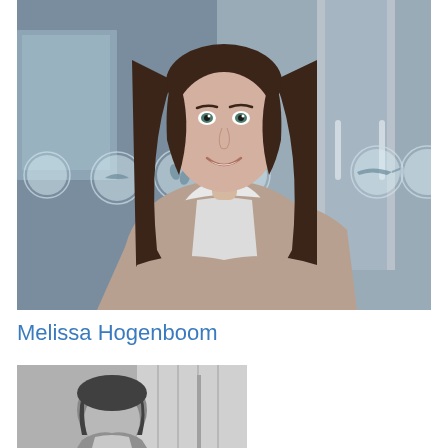[Figure (photo): Color photograph of a smiling young woman with long dark brown hair, wearing a white shirt and tan/beige cardigan, standing in front of a glass wall with circular icon decals, in what appears to be a modern office or museum environment]
Melissa Hogenboom
[Figure (photo): Black and white photograph partially visible showing a person (man) in what appears to be an office setting, cropped at the bottom of the page]